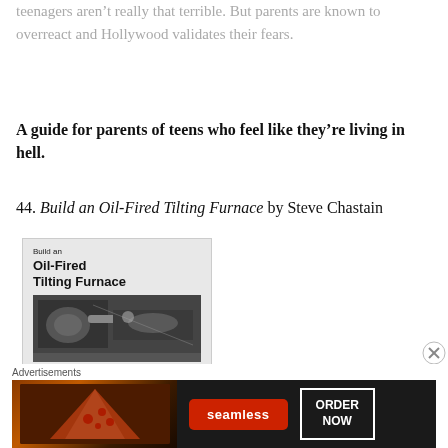teenagers aren't really that terrible. But parents are known to overreact and Hollywood validates their fears.
A guide for parents of teens who feel like they're living in hell.
44. Build an Oil-Fired Tilting Furnace by Steve Chastain
[Figure (illustration): Book cover: 'Build an Oil-Fired Tilting Furnace' showing bold title text and a black-and-white photo of furnace equipment]
[Figure (infographic): Advertisement banner for Seamless food delivery showing pizza image, red Seamless logo badge, and 'ORDER NOW' button on dark background]
Advertisements